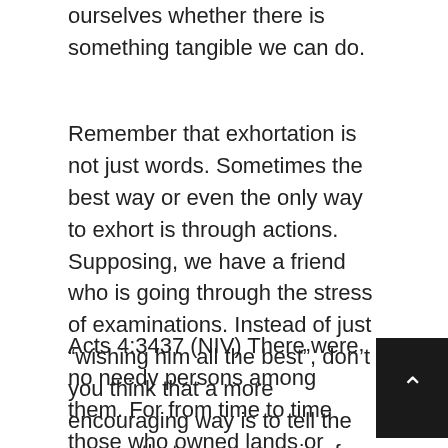ourselves whether there is something tangible we can do.
Remember that exhortation is not just words. Sometimes the best way or even the only way to exhort is through actions. Supposing, we have a friend who is going through the stress of examinations. Instead of just “wishing him all the best”, don’t you think that a more encouraging way is to tell the person that we are praying for him or even offer to help in his studies if it is within your means.
Acts 4:3437 (NIV) There were no needy persons among them. For from time to time those who owned lands or houses sold them, brought the money from the sales 35 and put it at the apostles’ feet, and it was distributed to anyone as he had need. 36 Joseph, a Levite from Cyprus,